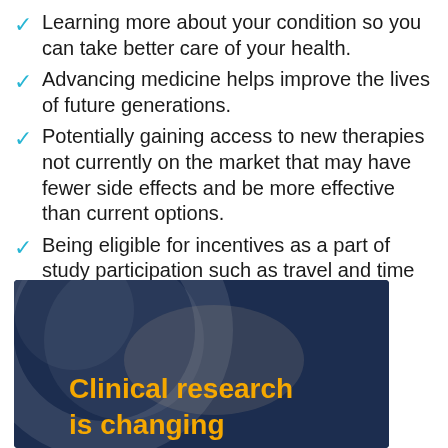Learning more about your condition so you can take better care of your health.
Advancing medicine helps improve the lives of future generations.
Potentially gaining access to new therapies not currently on the market that may have fewer side effects and be more effective than current options.
Being eligible for incentives as a part of study participation such as travel and time reimbursements.
[Figure (photo): Dark blue background with a globe/earth graphic and overlaid bold yellow text reading 'Clinical research is changing']